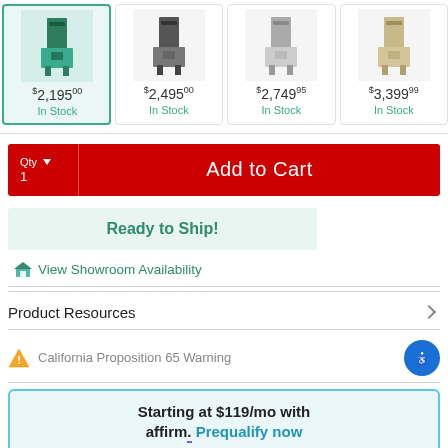[Figure (screenshot): Product listing strip showing 4 band saw machine products with prices: $2,195.00, $2,495.00, $2,749.95, $3,399.99, all marked In Stock. First item is selected (green border).]
Add to Cart
Ready to Ship!
View Showroom Availability
Product Resources
California Proposition 65 Warning
Starting at $119/mo with affirm. Prequalify now